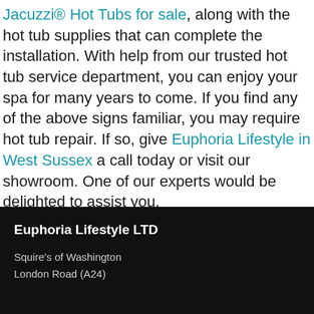Jacuzzi® Hot Tubs for sale, along with the hot tub supplies that can complete the installation. With help from our trusted hot tub service department, you can enjoy your spa for many years to come. If you find any of the above signs familiar, you may require hot tub repair. If so, give Euphoria Lifestyle in West Sussex a call today or visit our showroom. One of our experts would be delighted to assist you.
Euphoria Lifestyle LTD
Squire's of Washington
London Road (A24)